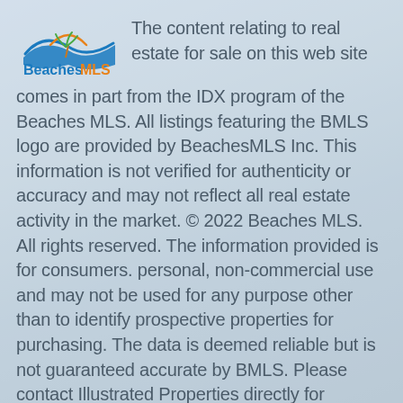[Figure (logo): BeachesMLS logo with a wave and palm tree graphic above the text BeachesMLS in blue and orange]
The content relating to real estate for sale on this web site comes in part from the IDX program of the Beaches MLS. All listings featuring the BMLS logo are provided by BeachesMLS Inc. This information is not verified for authenticity or accuracy and may not reflect all real estate activity in the market. © 2022 Beaches MLS. All rights reserved. The information provided is for consumers. personal, non-commercial use and may not be used for any purpose other than to identify prospective properties for purchasing. The data is deemed reliable but is not guaranteed accurate by BMLS. Please contact Illustrated Properties directly for additional